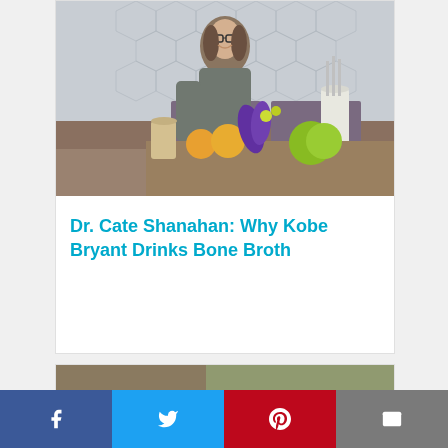[Figure (photo): A smiling woman with glasses and shoulder-length brown hair, wearing a grey blazer, leaning on a counter with fruits, vegetables including purple kale and romanesco broccoli, and glass jars in a kitchen setting.]
Dr. Cate Shanahan: Why Kobe Bryant Drinks Bone Broth
[Figure (photo): Partial view of a second article card at the bottom of the page, showing the top edge of another photograph.]